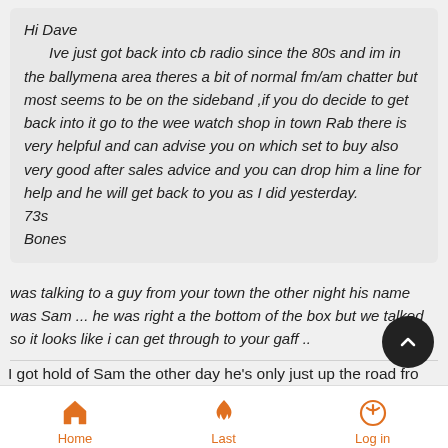Hi Dave

Ive just got back into cb radio since the 80s and im in the ballymena area theres a bit of normal fm/am chatter but most seems to be on the sideband ,if you do decide to get back into it go to the wee watch shop in town Rab there is very helpful and can advise you on which set to buy also very good after sales advice and you can drop him a line for help and he will get back to you as I did yesterday.
73s
Bones
was talking to a guy from your town the other night his name was Sam ... he was right a the bottom of the box but we talked so it looks like i can get through to your gaff ..
I got hold of Sam the other day he's only just up the road from me
Home  Last  Log in